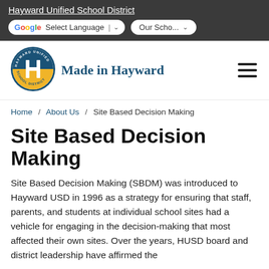Hayward Unified School District
[Figure (logo): Hayward Unified School District circular logo with H emblem, yellow and blue design]
Made in Hayward
Home / About Us / Site Based Decision Making
Site Based Decision Making
Site Based Decision Making (SBDM) was introduced to Hayward USD in 1996 as a strategy for ensuring that staff, parents, and students at individual school sites had a vehicle for engaging in the decision-making that most affected their own sites. Over the years, HUSD board and district leadership have affirmed the